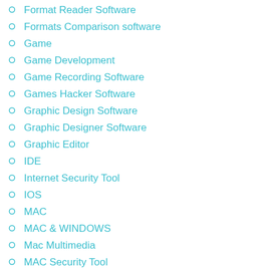Format Reader Software
Formats Comparison software
Game
Game Development
Game Recording Software
Games Hacker Software
Graphic Design Software
Graphic Designer Software
Graphic Editor
IDE
Internet Security Tool
IOS
MAC
MAC & WINDOWS
Mac Multimedia
MAC Security Tool